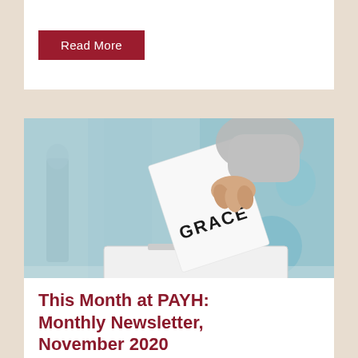Read More
[Figure (photo): A hand inserting a ballot paper labeled 'GRACE' into a white ballot box, with a blurred indoor background featuring blue-green tones.]
This Month at PAYH: Monthly Newsletter, November 2020